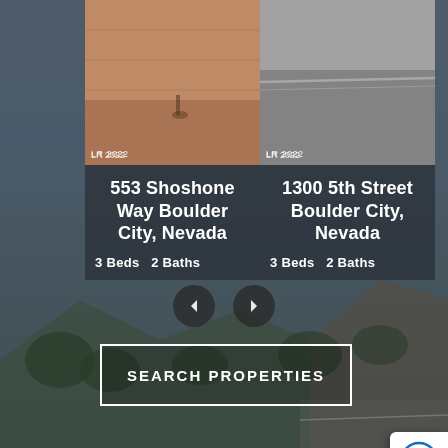[Figure (photo): Aerial/outdoor photo of properties — left shows reddish sandy yard/lot, right shows grey road surface; both watermarked LR 2022]
553 Shoshone Way Boulder City, Nevada
3 Beds   2 Baths
1300 5th Street Boulder City, Nevada
3 Beds   2 Baths
SEARCH PROPERTIES